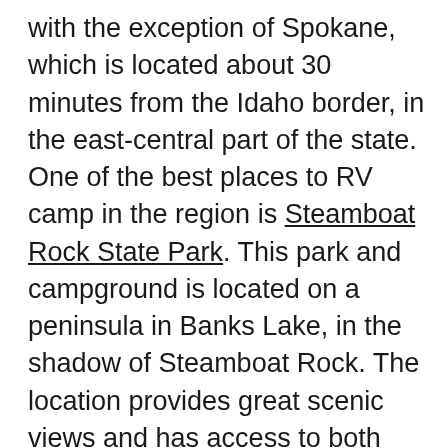with the exception of Spokane, which is located about 30 minutes from the Idaho border, in the east-central part of the state. One of the best places to RV camp in the region is Steamboat Rock State Park. This park and campground is located on a peninsula in Banks Lake, in the shadow of Steamboat Rock. The location provides great scenic views and has access to both land and water activities; like hiking, biking, kayaking, boating and fishing. The campground itself is well maintained with full hookups available. It can also accommodate RVs of any size and is big rig friendly. Nearby attractions include: the Grand Coulee Dam, Gehrke Windmill Garden, Crown Point and Dry Falls.